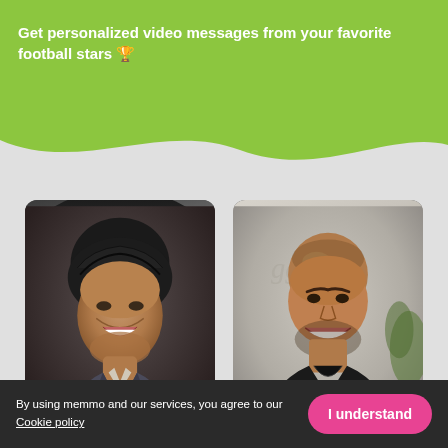Get personalized video messages from your favorite football stars 🏆
[Figure (photo): Photo of a smiling middle-aged man with dark hair wearing a grey suit, football star, price AU$73]
[Figure (photo): Photo of a smiling bald man wearing a black shirt, football star, price AU$95, background shows a logo with text PARIS]
By using memmo and our services, you agree to our
Cookie policy
I understand